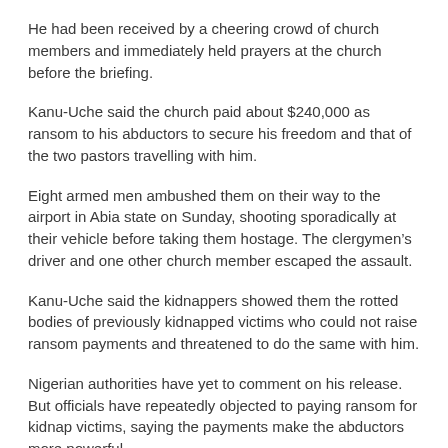He had been received by a cheering crowd of church members and immediately held prayers at the church before the briefing.
Kanu-Uche said the church paid about $240,000 as ransom to his abductors to secure his freedom and that of the two pastors travelling with him.
Eight armed men ambushed them on their way to the airport in Abia state on Sunday, shooting sporadically at their vehicle before taking them hostage. The clergymen’s driver and one other church member escaped the assault.
Kanu-Uche said the kidnappers showed them the rotted bodies of previously kidnapped victims who could not raise ransom payments and threatened to do the same with him.
Nigerian authorities have yet to comment on his release. But officials have repeatedly objected to paying ransom for kidnap victims, saying the payments make the abductors more powerful.